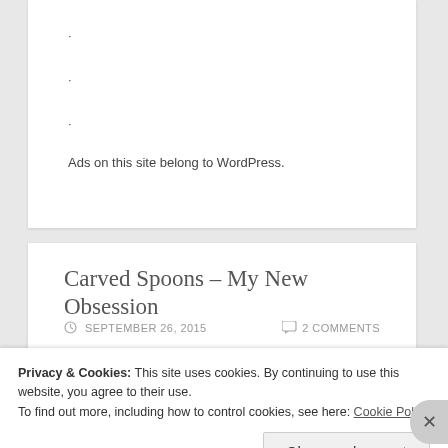·
·
·
Ads on this site belong to WordPress.
Carved Spoons – My New Obsession
SEPTEMBER 26, 2015   2 COMMENTS
Privacy & Cookies: This site uses cookies. By continuing to use this website, you agree to their use.
To find out more, including how to control cookies, see here: Cookie Policy
Close and accept